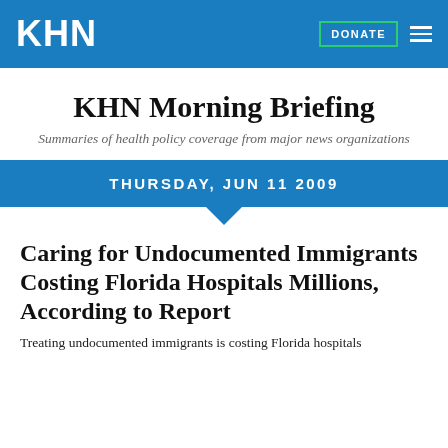KHN
KHN Morning Briefing
Summaries of health policy coverage from major news organizations
THURSDAY, JUN 11 2009
Caring for Undocumented Immigrants Costing Florida Hospitals Millions, According to Report
Treating undocumented immigrants is costing Florida hospitals